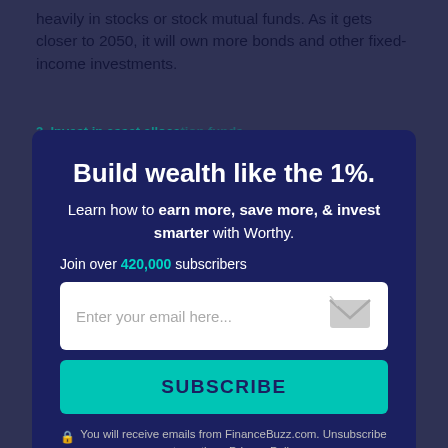heavily in stocks or stock mutual funds. As it gets closer to 2050, it will own more bonds and other fixed-income investments.
3. Invest in asset allocation funds
asset allocation ... a diversified investment portfolio that includes multiple asset classes. An example of an asset allocation ... weighting 10 to 60% stocks and 40% bonds. If the ...
Build wealth like the 1%.
Learn how to earn more, save more, & invest smarter with Worthy.
Join over 420,000 subscribers
Enter your email here...
SUBSCRIBE
You will receive emails from FinanceBuzz.com. Unsubscribe at any time. Privacy Policy
Exclusive insider content